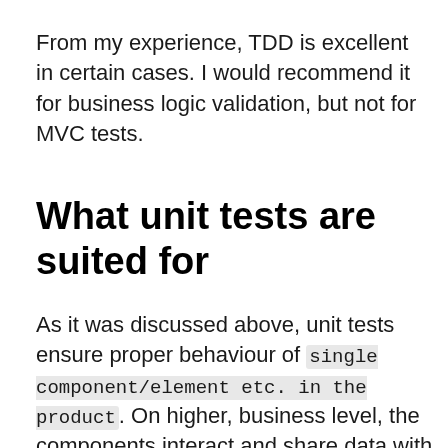From my experience, TDD is excellent in certain cases. I would recommend it for business logic validation, but not for MVC tests.
What unit tests are suited for
As it was discussed above, unit tests ensure proper behaviour of single component/element etc. in the product. On higher, business level, the components interact and share data with others. Unit